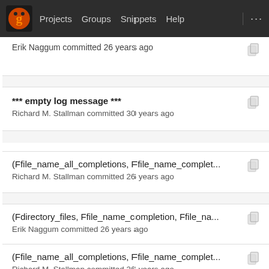Projects  Groups  Snippets  Help  ...
Erik Naggum committed 26 years ago
*** empty log message ***
Richard M. Stallman committed 30 years ago
(Ffile_name_all_completions, Ffile_name_complet...
Richard M. Stallman committed 26 years ago
(Fdirectory_files, Ffile_name_completion, Ffile_na...
Erik Naggum committed 26 years ago
(Ffile_name_all_completions, Ffile_name_complet...
Richard M. Stallman committed 26 years ago
(file_name_completion): New arg PREDICATE. So...
Richard M. Stallman committed 15 years ago
Initial revision
Richard M. Stallman committed 31 years ago
Fix_Wimplicit_warnings